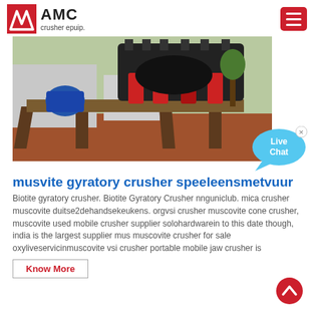[Figure (logo): AMC crusher epuip. logo with red chevron icon and hamburger menu button]
[Figure (photo): Industrial gyratory crusher machine mounted on a wooden frame outdoors on red soil with trees and buildings in background]
musvite gyratory crusher speeleensmetvuur
Biotite gyratory crusher. Biotite Gyratory Crusher nnguniclub. mica crusher muscovite duitse2dehandsekeukens. orgvsi crusher muscovite cone crusher, muscovite used mobile crusher supplier solohardwarein to this date though, india is the largest supplier mus muscovite crusher for sale oxyliveservicinmuscovite vsi crusher portable mobile jaw crusher is
Know More